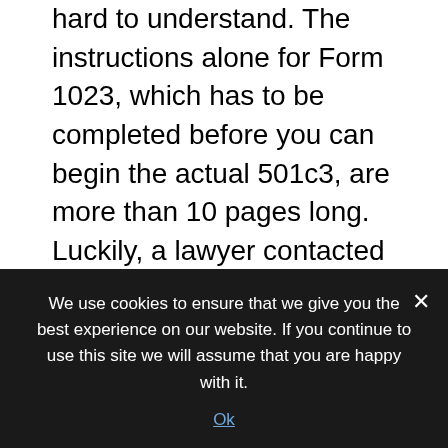hard to understand. The instructions alone for Form 1023, which has to be completed before you can begin the actual 501c3, are more than 10 pages long. Luckily, a lawyer contacted us about helping us with the application. The meeting is on Monday, and I hope she can give us some guidance because this is really complex material, and you don't want to make any mistakes when it comes to the IRS!
I think that right now, I am most proud of the legal document that I have been creating. I've found some really informative, reliable resources online that I think will help entrepreneurs a lot. I also am happy to have found potential pro bono legal assistance within the first week, because I had just assumed that it would be much harder
We use cookies to ensure that we give you the best experience on our website. If you continue to use this site we will assume that you are happy with it.